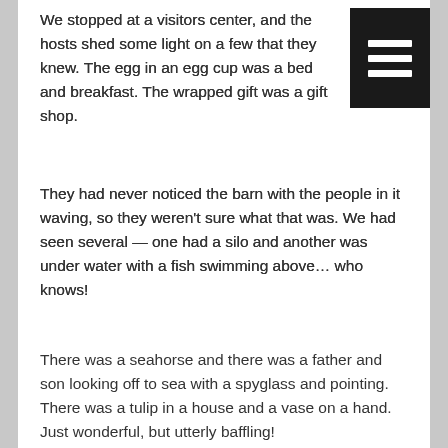We stopped at a visitors center, and the hosts shed some light on a few that they knew. The egg in an egg cup was a bed and breakfast. The wrapped gift was a gift shop.
They had never noticed the barn with the people in it waving, so they weren't sure what that was. We had seen several — one had a silo and another was under water with a fish swimming above… who knows!
There was a seahorse and there was a father and son looking off to sea with a spyglass and pointing. There was a tulip in a house and a vase on a hand. Just wonderful, but utterly baffling!
Inventing meanings for these signs sure beat the old alphabet game we used to play as kids in the back of the family station wagon!
We learned later that some were icons for designated